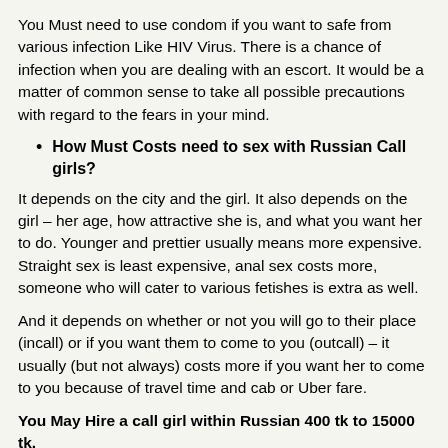You Must need to use condom if you want to safe from various infection Like HIV Virus. There is a chance of infection when you are dealing with an escort. It would be a matter of common sense to take all possible precautions with regard to the fears in your mind.
How Must Costs need to sex with Russian Call girls?
It depends on the city and the girl. It also depends on the girl – her age, how attractive she is, and what you want her to do. Younger and prettier usually means more expensive. Straight sex is least expensive, anal sex costs more, someone who will cater to various fetishes is extra as well.
And it depends on whether or not you will go to their place (incall) or if you want them to come to you (outcall) – it usually (but not always) costs more if you want her to come to you because of travel time and cab or Uber fare.
You May Hire a call girl within Russian 400 tk to 15000 tk.